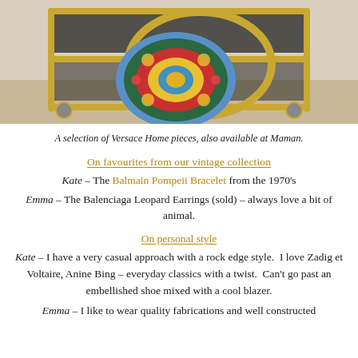[Figure (photo): A gold bar cart with a colorful Versace Home decorative plate featuring floral mandala pattern in blue, green, red and yellow, displayed on the cart shelf.]
A selection of Versace Home pieces, also available at Maman.
On favourites from our vintage collection
Kate – The Balmain Pompeii Bracelet from the 1970's
Emma – The Balenciaga Leopard Earrings (sold) – always love a bit of animal.
On personal style
Kate – I have a very casual approach with a rock edge style.  I love Zadig et Voltaire, Anine Bing – everyday classics with a twist.  Can't go past an embellished shoe mixed with a cool blazer.
Emma – I like to wear quality fabrications and well constructed...